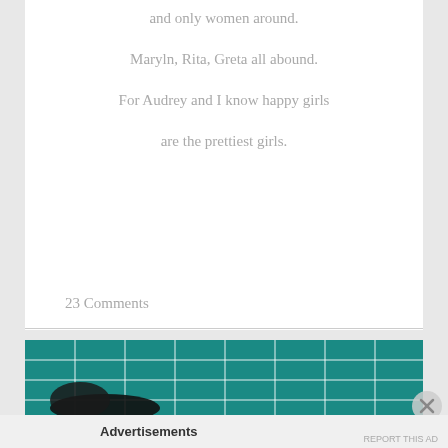and only women around.
Maryln, Rita, Greta all abound.
For Audrey and I know happy girls
are the prettiest girls.
23 Comments
[Figure (photo): A teal/green cutting mat with grid lines and a dark object (possibly an insect or craft tool) in the lower left area.]
Advertisements
REPORT THIS AD